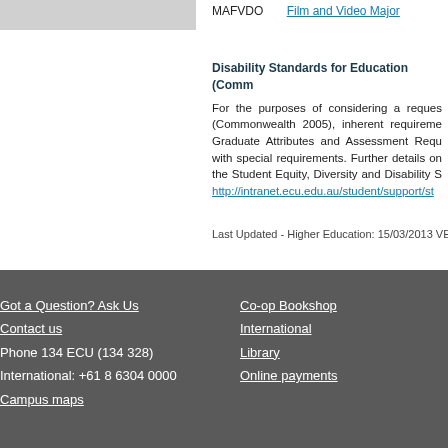MAFVDO	Film and Video Major
Disability Standards for Education (Comm...
For the purposes of considering a reques... (Commonwealth 2005), inherent requireme... Graduate Attributes and Assessment Requ... with special requirements. Further details on... the Student Equity, Diversity and Disability S... http://intranet.ecu.edu.au/student/support/st...
Last Updated - Higher Education: 15/03/2013 VET: 200
Got a Question? Ask Us
Contact us
Phone 134 ECU (134 328)
International: +61 8 6304 0000
Campus maps
Co-op Bookshop
International
Library
Online payments